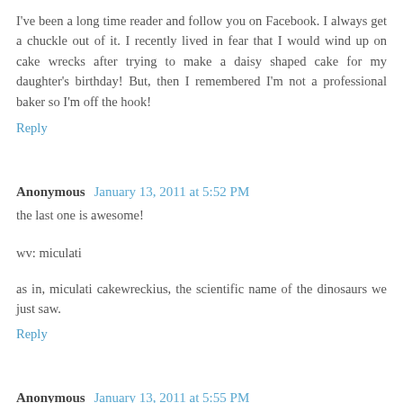I've been a long time reader and follow you on Facebook. I always get a chuckle out of it. I recently lived in fear that I would wind up on cake wrecks after trying to make a daisy shaped cake for my daughter's birthday! But, then I remembered I'm not a professional baker so I'm off the hook!
Reply
Anonymous  January 13, 2011 at 5:52 PM
the last one is awesome!
wv: miculati
as in, miculati cakewreckius, the scientific name of the dinosaurs we just saw.
Reply
Anonymous  January 13, 2011 at 5:55 PM